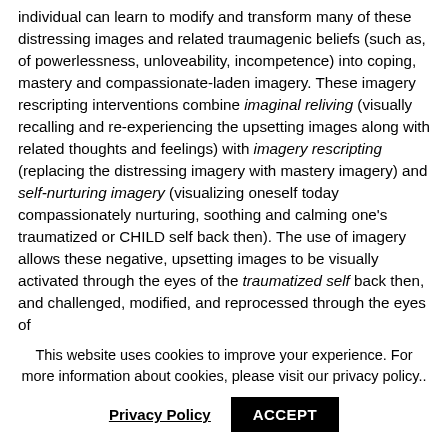individual can learn to modify and transform many of these distressing images and related traumagenic beliefs (such as, of powerlessness, unloveability, incompetence) into coping, mastery and compassionate-laden imagery. These imagery rescripting interventions combine imaginal reliving (visually recalling and re-experiencing the upsetting images along with related thoughts and feelings) with imagery rescripting (replacing the distressing imagery with mastery imagery) and self-nurturing imagery (visualizing oneself today compassionately nurturing, soothing and calming one's traumatized or CHILD self back then). The use of imagery allows these negative, upsetting images to be visually activated through the eyes of the traumatized self back then, and challenged, modified, and reprocessed through the eyes of
This website uses cookies to improve your experience. For more information about cookies, please visit our privacy policy..
Privacy Policy   ACCEPT